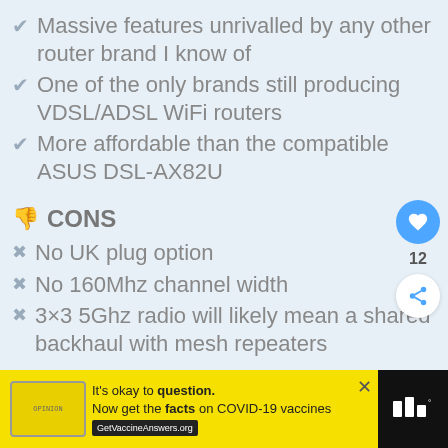✔ Massive features unrivalled by any other router brand I know of
✔ One of the only brands still producing VDSL/ADSL WiFi routers
✔ More affordable than the compatible ASUS DSL-AX82U
👎 CONS
✖ No UK plug option
✖ No 160Mhz channel width
✖ 3×3 5Ghz radio will likely mean a shared backhaul with mesh repeaters
[Figure (infographic): Advertisement bar: yellow background with logo, text 'It's okay to question. Now get the facts on COVID-19 vaccines GetVaccineAnswers.org', close button, and dark brand logo on right]
[Figure (infographic): Sidebar with heart/like button (blue circle, count 12) and share button (white circle)]